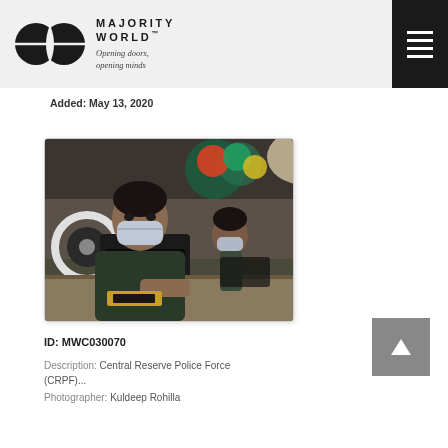MAJORITY WORLD™ — Opening doors, opening minds
Added: May 13, 2020
[Figure (photo): Two workers wearing face masks use sewing machines in a workroom with colourful decorations in the background.]
ID: MWC030070
Description: Central Reserve Police Force (CRPF)...
Photographer: Kuldeep Rohilla